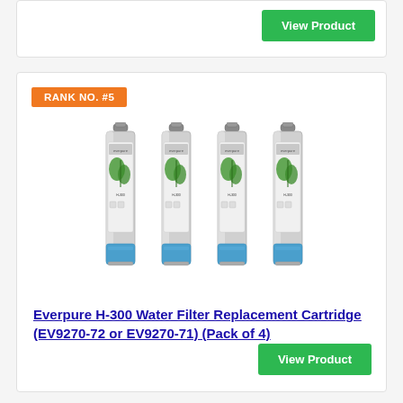[Figure (screenshot): Top portion of a previous product card showing a green 'View Product' button]
RANK NO. #5
[Figure (photo): Four Everpure H-300 water filter replacement cartridges side by side, cylindrical silver/chrome with green plant design, blue bottom section]
Everpure H-300 Water Filter Replacement Cartridge (EV9270-72 or EV9270-71) (Pack of 4)